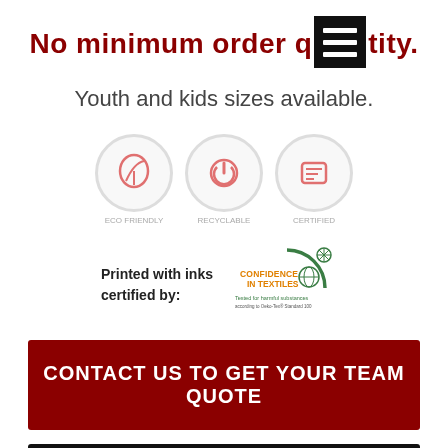No minimum order quantity.
Youth and kids sizes available.
[Figure (illustration): Three circular icons with red symbols representing eco-friendly, recycled/power, and quality features, each with blurred caption labels beneath]
Printed with inks certified by:
[Figure (logo): CONFIDENCE IN TEXTILES logo - Tested for harmful substances according to Oeko-Tex Standard 100]
CONTACT US TO GET YOUR TEAM QUOTE
Examples of our work